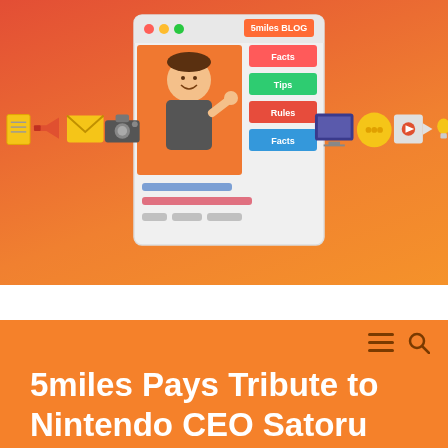[Figure (screenshot): Header banner with orange/red gradient background containing a blog illustration (cartoon man pointing to a blog UI with Facts, Tips, Rules, Facts buttons) in the center, surrounded by various app icons (notepad, megaphone, mail, camera, monitor, chat bubbles, video, lightbulb) on an orange strip.]
5miles Pays Tribute to Nintendo CEO Satoru Iwata
Ruben Avendano   July 15, 2015
[Figure (photo): Black and white or grayscale photo of a person, partially visible at the bottom of the page.]